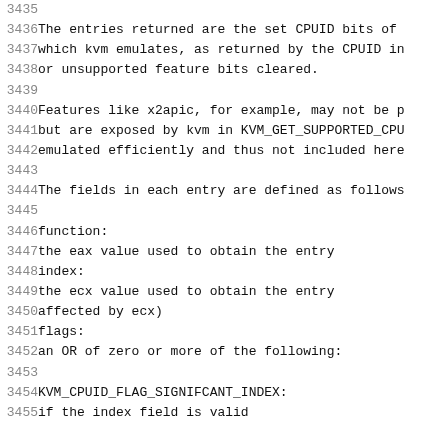3435
3436  The entries returned are the set CPUID bits of
3437  which kvm emulates, as returned by the CPUID in
3438  or unsupported feature bits cleared.
3439
3440  Features like x2apic, for example, may not be p
3441  but are exposed by kvm in KVM_GET_SUPPORTED_CPU
3442  emulated efficiently and thus not included here
3443
3444  The fields in each entry are defined as follows
3445
3446    function:
3447          the eax value used to obtain the entry
3448    index:
3449          the ecx value used to obtain the entry
3450          affected by ecx)
3451    flags:
3452      an OR of zero or more of the following:
3453
3454        KVM_CPUID_FLAG_SIGNIFCANT_INDEX:
3455          if the index field is valid